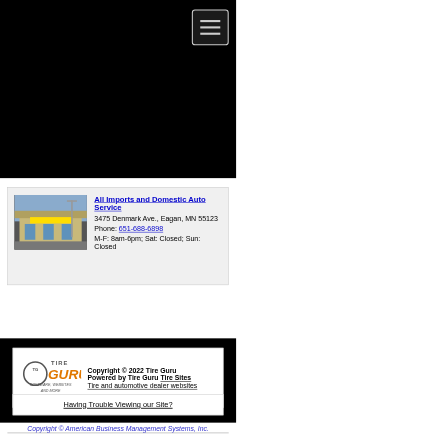[Figure (screenshot): Black navigation bar area at top of webpage with hamburger menu button (three horizontal lines) in top right corner]
All Imports and Domestic Auto Service
3475 Denmark Ave., Eagan, MN 55123
Phone: 651-688-6898
M-F: 8am-6pm; Sat: Closed; Sun: Closed
[Figure (logo): Tire Guru software websites and more logo with circular TG emblem]
Copyright © 2022 Tire Guru
Powered by Tire Guru Tire Sites
Tire and automotive dealer websites
Having Trouble Viewing our Site?
Copyright © American Business Management Systems, Inc.